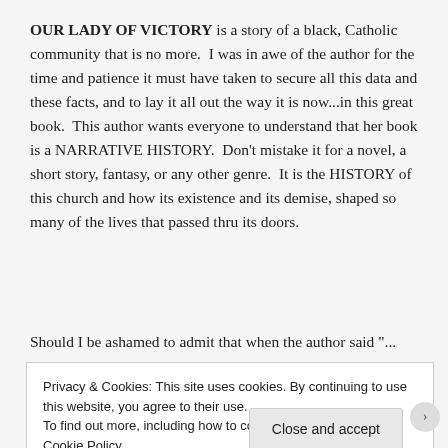OUR LADY OF VICTORY is a story of a black, Catholic community that is no more.  I was in awe of the author for the time and patience it must have taken to secure all this data and these facts, and to lay it all out the way it is now...in this great book.  This author wants everyone to understand that her book is a NARRATIVE HISTORY.  Don't mistake it for a novel, a short story, fantasy, or any other genre.  It is the HISTORY of this church and how its existence and its demise, shaped so many of the lives that passed thru its doors.
Should I be ashamed to admit that when the author said "...
Privacy & Cookies: This site uses cookies. By continuing to use this website, you agree to their use.
To find out more, including how to control cookies, see here: Cookie Policy